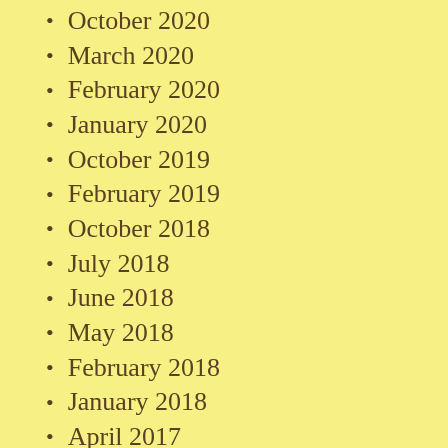October 2020
March 2020
February 2020
January 2020
October 2019
February 2019
October 2018
July 2018
June 2018
May 2018
February 2018
January 2018
April 2017
March 2017
February 2017
January 2017
December 2...